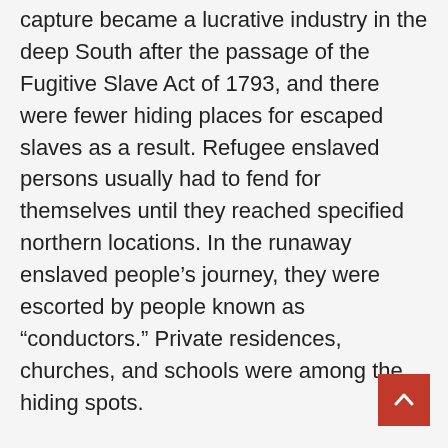capture became a lucrative industry in the deep South after the passage of the Fugitive Slave Act of 1793, and there were fewer hiding places for escaped slaves as a result. Refugee enslaved persons usually had to fend for themselves until they reached specified northern locations. In the runaway enslaved people's journey, they were escorted by people known as “conductors.” Private residences, churches, and schools were among the hiding spots.
Stationmasters were the individuals in charge of running them.
Others traveled north via Pennsylvania and into New England, while others passed through Detroit on their route to the